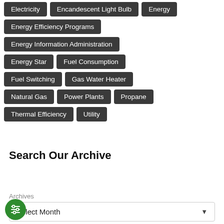Electricity
Encandescent Light Bulb
Energy
Energy Efficiency Programs
Energy Information Administration
Energy Star
Fuel Consumption
Fuel Switching
Gas Water Heater
Natural Gas
Power Plants
Propane
Thermal Efficiency
Utility
Search Our Archive
Archives
Select Month